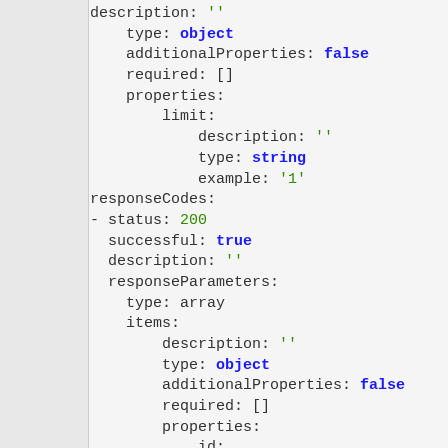YAML/API schema code block showing description, type: object, additionalProperties: false, required: [], properties: limit with description, type: string, example: '1'; responseCodes: - status: 200, successful: true, description: ''; responseParameters: type: array, items: description: '', type: object, additionalProperties: false, required: [], properties: id: description: '', type: integer, example: 1; name: description: ''